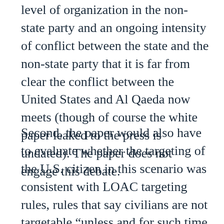level of organization in the non-state party and an ongoing intensity of conflict between the state and the non-state party that it is far from clear the conflict between the United States and Al Qaeda now meets (though of course the white paper leaked to the press is undated). The paper does not engage this debate.
Second, the paper would also have to evaluate whether the targeting of the U.S. citizen in this scenario was consistent with LOAC targeting rules, rules that say civilians are not targetable “unless and for such time as they take a direct part in hostilities.” (E.g. AP II, art. 13.) The